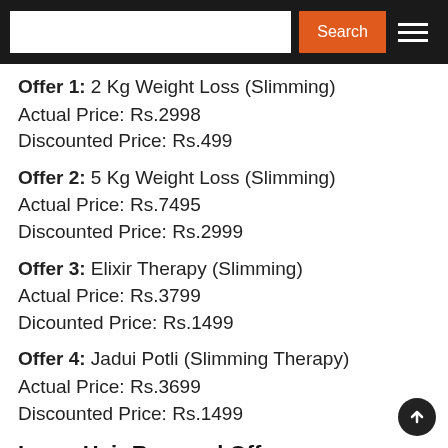Search
Offer 1: 2 Kg Weight Loss (Slimming)
Actual Price: Rs.2998
Discounted Price: Rs.499
Offer 2: 5 Kg Weight Loss (Slimming)
Actual Price: Rs.7495
Discounted Price: Rs.2999
Offer 3: Elixir Therapy (Slimming)
Actual Price: Rs.3799
Dicounted Price: Rs.1499
Offer 4: Jadui Potli (Slimming Therapy)
Actual Price: Rs.3699
Discounted Price: Rs.1499
Laser Hair Removal Offers
Offer 5: (partial)